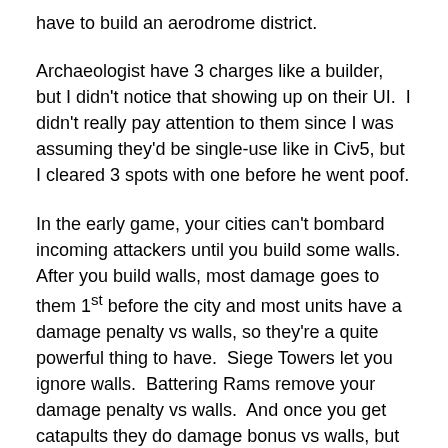have to build an aerodrome district.
Archaeologist have 3 charges like a builder, but I didn't notice that showing up on their UI.  I didn't really pay attention to them since I was assuming they'd be single-use like in Civ5, but I cleared 3 spots with one before he went poof.
In the early game, your cities can't bombard incoming attackers until you build some walls.  After you build walls, most damage goes to them 1st before the city and most units have a damage penalty vs walls, so they're a quite powerful thing to have.  Siege Towers let you ignore walls.  Battering Rams remove your damage penalty vs walls.  And once you get catapults they do damage bonus vs walls, but they take time to get into position and can't fire on a turn where they move, so… IMO, build a siege tower